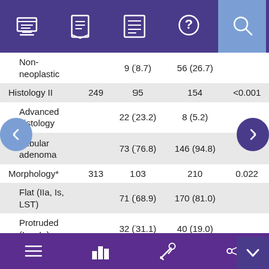[Figure (screenshot): Top navigation bar with icons: monitor, book, document, question mark, and search (highlighted in blue)]
|  |  |  |  |  |
| --- | --- | --- | --- | --- |
| Non-neoplastic |  | 9 (8.7) | 56 (26.7) |  |
| Histology II | 249 | 95 | 154 | <0.001 |
| Advanced histology |  | 22 (23.2) | 8 (5.2) |  |
| Tubular adenoma |  | 73 (76.8) | 146 (94.8) |  |
| Morphology* | 313 | 103 | 210 | 0.022 |
| Flat (IIa, Is, LST) |  | 71 (68.9) | 170 (81.0) |  |
| Protruded (Isp, Ip) |  | 32 (31.1) | 40 (19.0) |  |
| Location | 313 | 103 | 210 | <0.001 |
| Proximal |  | 17 (16.5) | 110 (52.4) |  |
[Figure (screenshot): Bottom navigation bar with icons: hamburger menu, bar chart, wrench, share]